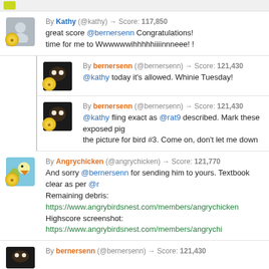By Kathy (@kathy) → Score: 117,850
great score @bernersenn Congratulations!
time for me to Wwwwwwihhhhhiiiinnneee! !
By bernersenn (@bernersenn) → Score: 121,430
@kathy today it's allowed. Whinie Tuesday!
By bernersenn (@bernersenn) → Score: 121,430
@kathy fling exact as @rat9 described. Mark these exposed pig... the picture for bird #3. Come on, don't let me down
By Angrychicken (@angrychicken) → Score: 121,770
And sorry @bernersenn for sending him to yours. Textbook clear as per @r...
Remaining debris: https://www.angrybirdsnest.com/members/angrychicken...
Highscore screenshot: https://www.angrybirdsnest.com/members/angrychi...
By bernersenn (@bernersenn) → Score: 121,430